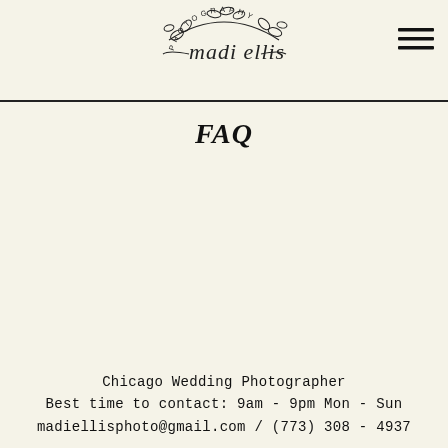madi ellis PHOTOGRAPHY [logo with botanical wreath]
FAQ
Chicago Wedding Photographer
Best time to contact: 9am - 9pm Mon - Sun
madiellisphoto@gmail.com / (773) 308 - 4937